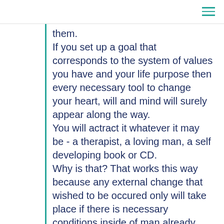them.
If you set up a goal that corresponds to the system of values you have and your life purpose then every necessary tool to change your heart, will and mind will surely appear along the way.
You will actract it whatever it may be - a therapist, a loving man, a self developing book or CD.
Why is that? That works this way because any external change that wished to be occured only will take place if there is necessary conditions inside of man already exist. So naturally if you want to achieve something great you just ought to have that greatness within yourself first.